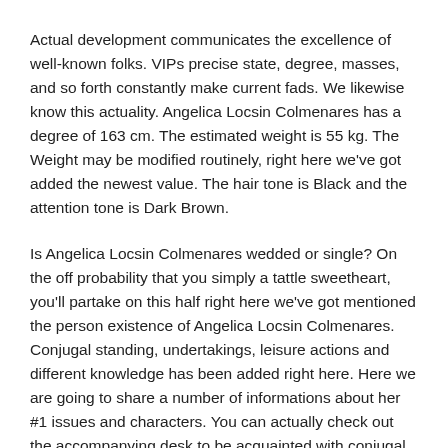Actual development communicates the excellence of well-known folks. VIPs precise state, degree, masses, and so forth constantly make current fads. We likewise know this actuality. Angelica Locsin Colmenares has a degree of 163 cm. The estimated weight is 55 kg. The Weight may be modified routinely, right here we've got added the newest value. The hair tone is Black and the attention tone is Dark Brown.
Is Angelica Locsin Colmenares wedded or single? On the off probability that you simply a tattle sweetheart, you'll partake on this half right here we've got mentioned the person existence of Angelica Locsin Colmenares. Conjugal standing, undertakings, leisure actions and different knowledge has been added right here. Here we are going to share a number of informations about her #1 issues and characters. You can actually check out the accompanying desk to be acquainted with conjugal standing and different knowledge.